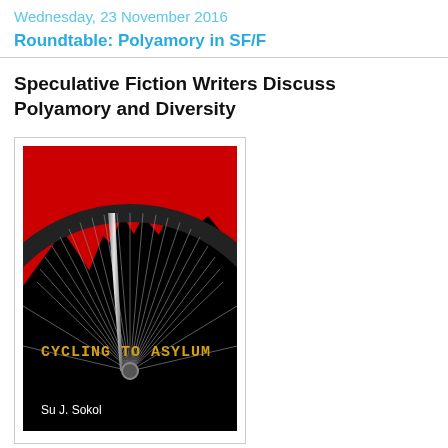Wednesday, 23 November 2016
Roundtable: Polyamory in SF/F
Speculative Fiction Writers Discuss Polyamory and Diversity
[Figure (illustration): Book cover of 'Cycling to Asylum' by Su J. Sokol. Black background with a large bicycle wheel rendered in dark tones with radiating spokes. The upper portion shows a red background with jagged black mountain/cityscape silhouettes. Title text 'CYCLING TO ASYLUM' in gold/yellow monospace font at bottom. Author name 'Su J. Sokol' in white text at bottom left.]